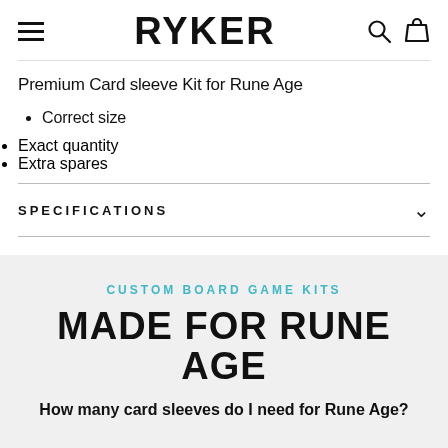RYKER
Premium Card sleeve Kit for Rune Age
Correct size
Exact quantity
Extra spares
SPECIFICATIONS
CUSTOM BOARD GAME KITS
MADE FOR RUNE AGE
How many card sleeves do I need for Rune Age?